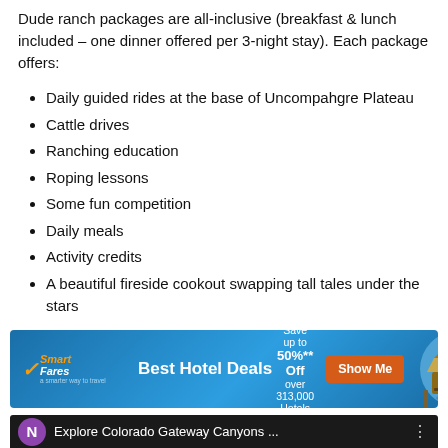Dude ranch packages are all-inclusive (breakfast & lunch included – one dinner offered per 3-night stay). Each package offers:
Daily guided rides at the base of Uncompahgre Plateau
Cattle drives
Ranching education
Roping lessons
Some fun competition
Daily meals
Activity credits
A beautiful fireside cookout swapping tall tales under the stars
[Figure (screenshot): SmartFares advertisement banner: Best Hotel Deals, Save up to 50%** Off over 313,000 Hotels, Show Me button, with image of tropical beach hut]
[Figure (screenshot): Video thumbnail bar: purple N circle logo, text 'Explore Colorado Gateway Canyons ...' on dark background]